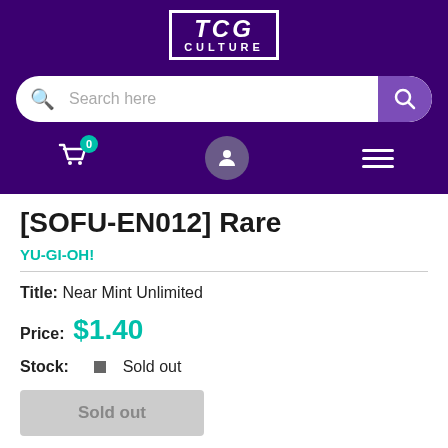[Figure (logo): TCG Culture logo in white with border on dark purple background]
[Figure (screenshot): Search bar with search icon and purple search button]
[Figure (screenshot): Navigation icons: cart with badge 0, user icon, hamburger menu]
[SOFU-EN012] Rare
YU-GI-OH!
Title:  Near Mint Unlimited
Price:  $1.40
Stock:  Sold out
Sold out